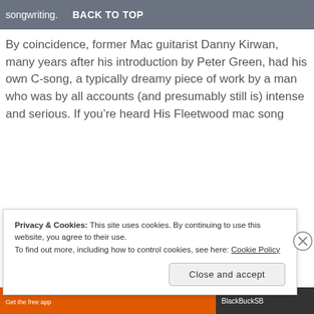songwriting.  BACK TO TOP
By coincidence, former Mac guitarist Danny Kirwan, many years after his introduction by Peter Green, had his own C-song, a typically dreamy piece of work by a man who was by all accounts (and presumably still is) intense and serious. If you’re heard His Fleetwood mac song
Privacy & Cookies: This site uses cookies. By continuing to use this website, you agree to their use.
To find out more, including how to control cookies, see here: Cookie Policy
Close and accept